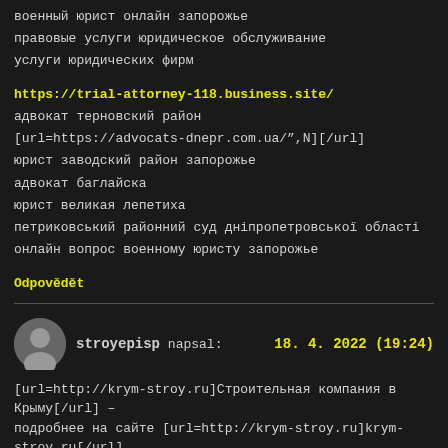военный юрист онлайн запорожье
правовые услуги юридическое обслуживание
услуги юридических фирм
https://trial-attorney-118.business.site/
адвокат терновский район
[url=https://advocats-dnepr.com.ua/",N][/url]
юрист заводский район запорожье
адвокат баглайска
юрист великая лепетиха
петриковський районний суд дніпропетровської області
онлайн вопрос военному юристу запорожье
Odpovědět
stroyepisp napsal: 18. 4. 2022 (19:24)
[url=http://krym-stroy.ru]Строительная компания в Крыму[/url] – подробнее на сайте [url=http://krym-stroy.ru]krym-stroy.ru[/url]